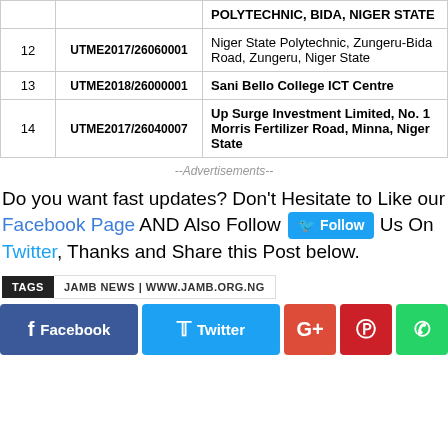|  |  |  |
| --- | --- | --- |
|  |  | POLYTECHNIC, BIDA, NIGER STATE |
| 12 | UTME2017/26060001 | Niger State Polytechnic, Zungeru-Bida Road, Zungeru, Niger State |
| 13 | UTME2018/26000001 | Sani Bello College ICT Centre |
| 14 | UTME2017/26040007 | Up Surge Investment Limited, No. 1 Morris Fertilizer Road, Minna, Niger State |
--Advertisements--
Do you want fast updates? Don't Hesitate to Like our Facebook Page AND Also Follow Us On Twitter, Thanks and Share this Post below.
TAGS  JAMB NEWS | WWW.JAMB.ORG.NG
Facebook  Twitter  G+  Pinterest  WhatsApp